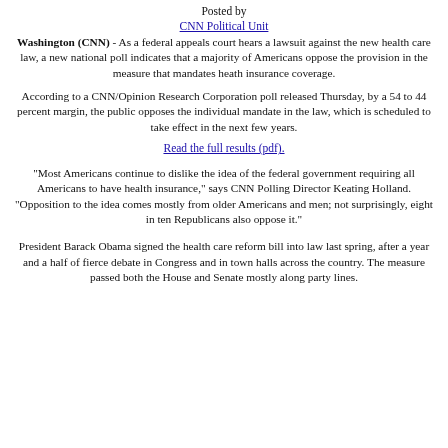Posted by
CNN Political Unit
Washington (CNN) - As a federal appeals court hears a lawsuit against the new health care law, a new national poll indicates that a majority of Americans oppose the provision in the measure that mandates heath insurance coverage.
According to a CNN/Opinion Research Corporation poll released Thursday, by a 54 to 44 percent margin, the public opposes the individual mandate in the law, which is scheduled to take effect in the next few years.
Read the full results (pdf).
"Most Americans continue to dislike the idea of the federal government requiring all Americans to have health insurance," says CNN Polling Director Keating Holland. "Opposition to the idea comes mostly from older Americans and men; not surprisingly, eight in ten Republicans also oppose it."
President Barack Obama signed the health care reform bill into law last spring, after a year and a half of fierce debate in Congress and in town halls across the country. The measure passed both the House and Senate mostly along party lines.